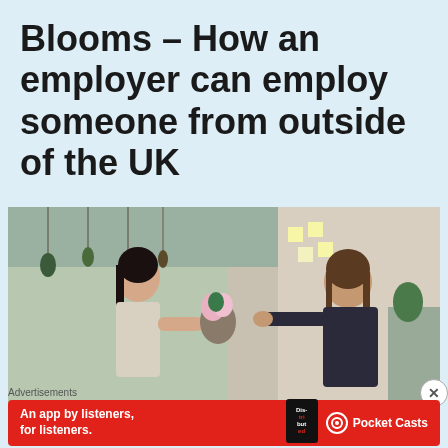Blooms – How an employer can employ someone from outside of the UK
[Figure (photo): Two women in a flower shop, one handing a bouquet of flowers wrapped in paper to the other. The shop has hanging plants and dried flowers in the background.]
Advertisements
[Figure (other): Red advertisement banner for Pocket Casts podcast app reading 'An app by listeners, for listeners.' with the Pocket Casts logo and a smartphone showing the app.]